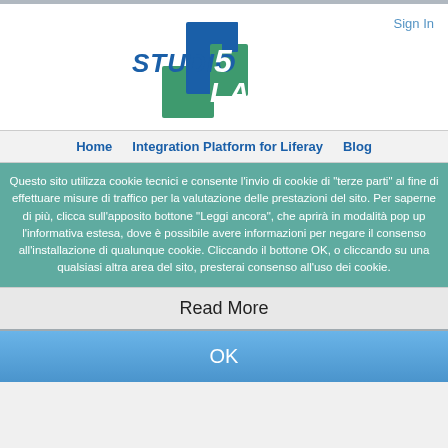[Figure (logo): Studio 5 Lab logo with blue and green overlapping rectangles and italic bold text 'STUDIO 5 LAB']
Sign In
Home   Integration Platform for Liferay   Blog
Questo sito utilizza cookie tecnici e consente l'invio di cookie di "terze parti" al fine di effettuare misure di traffico per la valutazione delle prestazioni del sito. Per saperne di più, clicca sull'apposito bottone "Leggi ancora", che aprirà in modalità pop up l'informativa estesa, dove è possibile avere informazioni per negare il consenso all'installazione di qualunque cookie. Cliccando il bottone OK, o cliccando su una qualsiasi altra area del sito, presterai consenso all'uso dei cookie.
Read More
OK